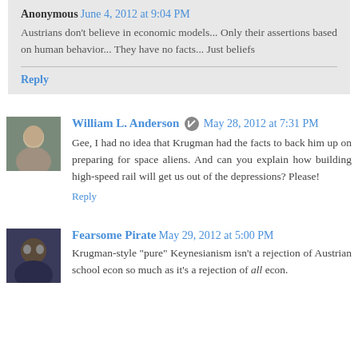Anonymous June 4, 2012 at 9:04 PM
Austrians don't believe in economic models... Only their assertions based on human behavior... They have no facts... Just beliefs
Reply
William L. Anderson May 28, 2012 at 7:31 PM
Gee, I had no idea that Krugman had the facts to back him up on preparing for space aliens. And can you explain how building high-speed rail will get us out of the depressions? Please!
Reply
Fearsome Pirate May 29, 2012 at 5:00 PM
Krugman-style "pure" Keynesianism isn't a rejection of Austrian school econ so much as it's a rejection of all econ.